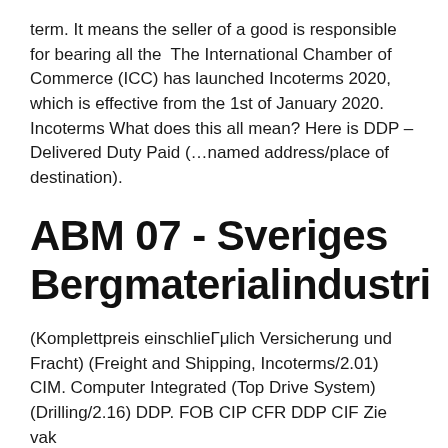term. It means the seller of a good is responsible for bearing all the  The International Chamber of Commerce (ICC) has launched Incoterms 2020, which is effective from the 1st of January 2020. Incoterms What does this all mean? Here is DDP – Delivered Duty Paid (…named address/place of destination).
ABM 07 - Sveriges Bergmaterialindustri
(Komplettpreis einschlieГμlich Versicherung und Fracht) (Freight and Shipping, Incoterms/2.01) CIM. Computer Integrated (Top Drive System) (Drilling/2.16) DDP. FOB CIP CFR DDP CIF Zie vak